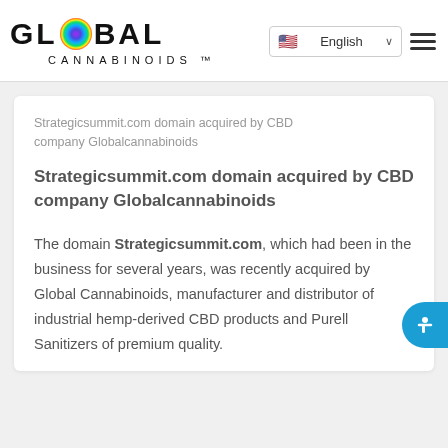GLOBAL CANNABINOIDS™ | English
Strategicsummit.com domain acquired by CBD company Globalcannabinoids
Strategicsummit.com domain acquired by CBD company Globalcannabinoids
The domain Strategicsummit.com, which had been in the business for several years, was recently acquired by Global Cannabinoids, manufacturer and distributor of industrial hemp-derived CBD products and Purell Sanitizers of premium quality.